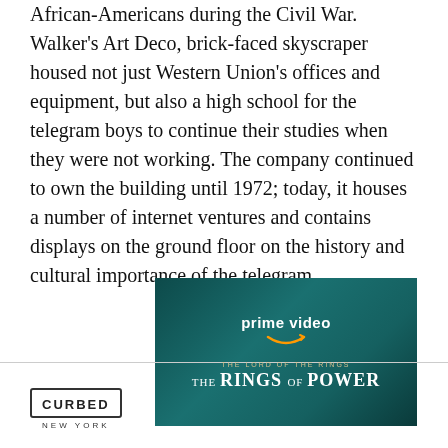African-Americans during the Civil War. Walker's Art Deco, brick-faced skyscraper housed not just Western Union's offices and equipment, but also a high school for the telegram boys to continue their studies when they were not working. The company continued to own the building until 1972; today, it houses a number of internet ventures and contains displays on the ground floor on the history and cultural importance of the telegram.
[Figure (photo): Advertisement for Amazon Prime Video's 'The Lord of the Rings: The Rings of Power' series. Dark teal/green background with fantasy characters. Shows Prime Video logo with Amazon smile, subtitle 'THE LORD OF THE RINGS', and large title 'THE RINGS OF POWER'.]
CURBED NEW YORK